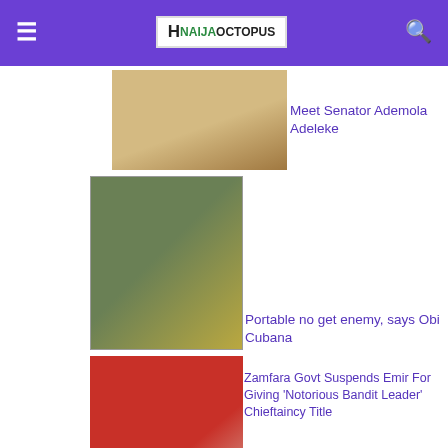NaijaOctopus navigation bar
[Figure (photo): Thumbnail photo of Senator Ademola Adeleke]
Meet Senator Ademola Adeleke
[Figure (photo): Crowd scene with flags, related to Portable and Obi Cubana]
Portable no get enemy, says Obi Cubana
[Figure (photo): Traditional ruler in red and white attire]
Zamfara Govt Suspends Emir For Giving 'Notorious Bandit Leader' Chieftaincy Title
PAGES
[Figure (photo): Sound Of The Street Mix album art thumbnail]
Sound Of The Street Mix